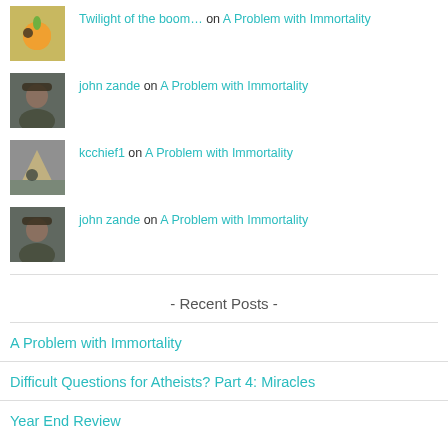Twilight of the boom… on A Problem with Immortality
john zande on A Problem with Immortality
kcchief1 on A Problem with Immortality
john zande on A Problem with Immortality
- Recent Posts -
A Problem with Immortality
Difficult Questions for Atheists? Part 4: Miracles
Year End Review